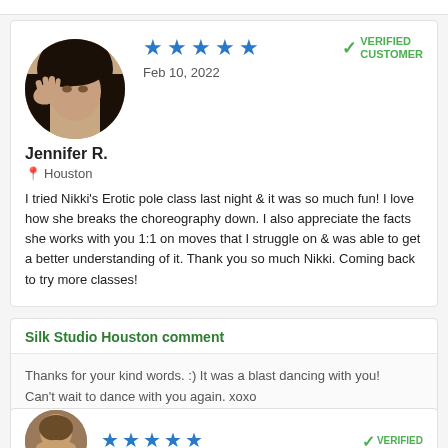[Figure (photo): Circular profile photo of Jennifer R., a woman with long dark hair posing with hand near face]
★★★★★
Feb 10, 2022
VERIFIED CUSTOMER
Jennifer R.
Houston
I tried Nikki's Erotic pole class last night & it was so much fun! I love how she breaks the choreography down. I also appreciate the facts she works with you 1:1 on moves that I struggle on & was able to get a better understanding of it. Thank you so much Nikki. Coming back to try more classes!
Silk Studio Houston comment
Thanks for your kind words. :) It was a blast dancing with you! Can't wait to dance with you again. xoxo
[Figure (photo): Circular profile photo of another reviewer, partial view at bottom of page]
★★★★★
VERIFIED